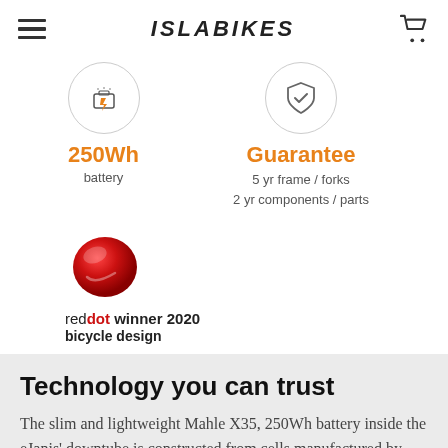ISLABIKES
[Figure (infographic): 250Wh battery icon inside a circle with lightning bolt symbol, orange label '250Wh' and grey label 'battery']
[Figure (infographic): Guarantee icon inside a circle with a shield and checkmark, orange label 'Guarantee', grey text '5 yr frame / forks' and '2 yr components / parts']
[Figure (logo): Red Dot Award logo - red circular sphere graphic with 'reddot winner 2020' text and 'bicycle design' subtitle]
Technology you can trust
The slim and lightweight Mahle X35, 250Wh battery inside the eJanis' downtube is constructed from cells manufactured by Panasonic. The battery reaches full